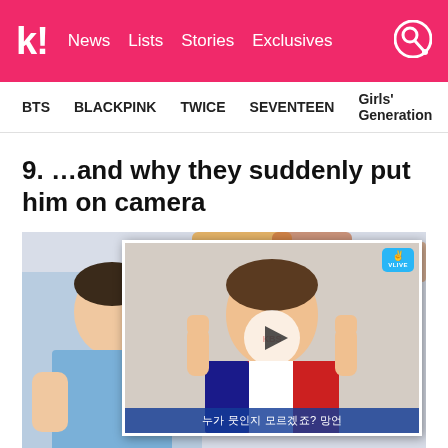k! News Lists Stories Exclusives
BTS  BLACKPINK  TWICE  SEVENTEEN  Girls' Generation
9. …and why they suddenly put him on camera
[Figure (photo): Video thumbnail showing two people: left person wearing blue shirt, right video overlay showing a person in colorful striped top with hands raised, VLIVE badge in upper right, play button in center, Korean subtitle text at bottom reading 누가 뭇인지 모르겠죠? 망언]